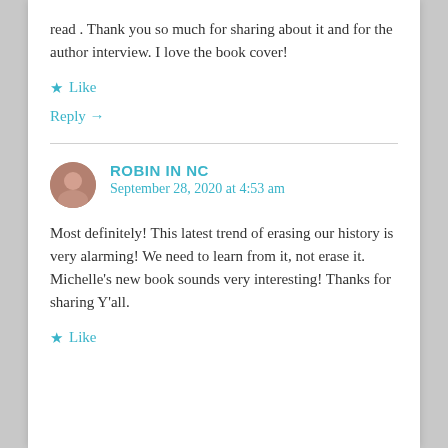read . Thank you so much for sharing about it and for the author interview. I love the book cover!
Like
Reply →
ROBIN IN NC
September 28, 2020 at 4:53 am
Most definitely! This latest trend of erasing our history is very alarming! We need to learn from it, not erase it. Michelle's new book sounds very interesting! Thanks for sharing Y'all.
Like